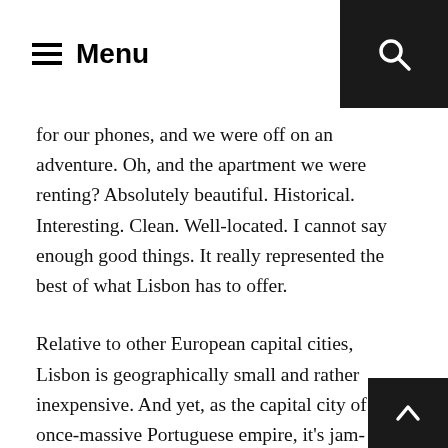Menu
for our phones, and we were off on an adventure. Oh, and the apartment we were renting? Absolutely beautiful. Historical. Interesting. Clean. Well-located. I cannot say enough good things. It really represented the best of what Lisbon has to offer.
Relative to other European capital cities, Lisbon is geographically small and rather inexpensive. And yet, as the capital city of the once-massive Portuguese empire, it's jam-packed with history, old-world beauty, and remnants of the colonial wealth that created it.
The city has many interesting neighbourhoods, and an hour or two of walking can really take you through a great cross-section of the best of Lisbon. We walked everywhere and s